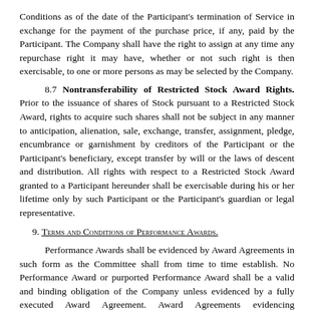Conditions as of the date of the Participant's termination of Service in exchange for the payment of the purchase price, if any, paid by the Participant. The Company shall have the right to assign at any time any repurchase right it may have, whether or not such right is then exercisable, to one or more persons as may be selected by the Company.
8.7 Nontransferability of Restricted Stock Award Rights. Prior to the issuance of shares of Stock pursuant to a Restricted Stock Award, rights to acquire such shares shall not be subject in any manner to anticipation, alienation, sale, exchange, transfer, assignment, pledge, encumbrance or garnishment by creditors of the Participant or the Participant's beneficiary, except transfer by will or the laws of descent and distribution. All rights with respect to a Restricted Stock Award granted to a Participant hereunder shall be exercisable during his or her lifetime only by such Participant or the Participant's guardian or legal representative.
9. Terms and Conditions of Performance Awards.
Performance Awards shall be evidenced by Award Agreements in such form as the Committee shall from time to time establish. No Performance Award or purported Performance Award shall be a valid and binding obligation of the Company unless evidenced by a fully executed Award Agreement. Award Agreements evidencing Performance Awards may incorporate all or any of the terms of the Plan by reference and shall comply with and be subject to the following terms and conditions:
9.1 Types of Performance Awards Authorized. Performance Awards may be in the form of either Performance Shares or Performance Units. Each Award Agreement evidencing a Performance Award shall specify the number of Performance Shares or Performance Units subject thereto, the Performance